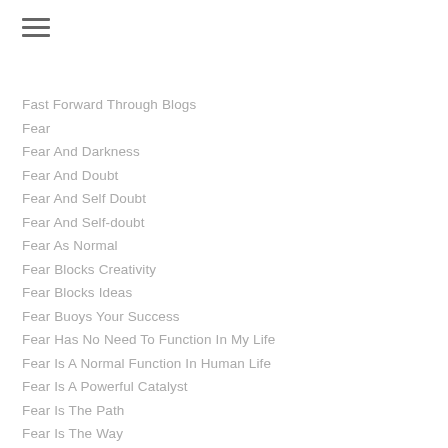Fast Forward Through Blogs
Fear
Fear And Darkness
Fear And Doubt
Fear And Self Doubt
Fear And Self-doubt
Fear As Normal
Fear Blocks Creativity
Fear Blocks Ideas
Fear Buoys Your Success
Fear Has No Need To Function In My Life
Fear Is A Normal Function In Human Life
Fear Is A Powerful Catalyst
Fear Is The Path
Fear Is The Way
Fear Is The Way To Successful
Fear Makes You Face Your Problems
Fear Make You Better Yourself